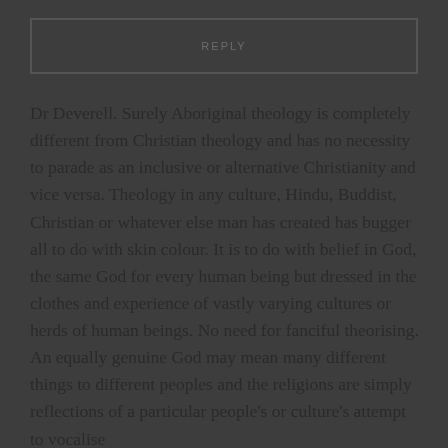REPLY
Dr Deverell. Surely Aboriginal theology is completely different from Christian theology and has no necessity to parade as an inclusive or alternative Christianity and vice versa. Theology in any culture, Hindu, Buddist, Christian or whatever else man has created has bugger all to do with skin colour. It is to do with belief in God, the same God for every human being but dressed in the clothes and experience of vastly varying cultures or herds of human beings. No need for fanciful theorising. An equally genuine God may mean many different things to different peoples and the religions are simply reflections of a particular people's or culture's attempt to vocalise